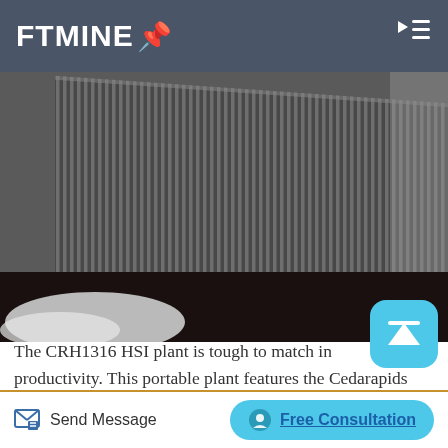FTMINE
[Figure (photo): Close-up photo of ribbed/corrugated metal surface, likely a crusher or industrial machine component, gray metallic ridged texture, with white material visible at bottom left corner.]
The CRH1316 HSI plant is tough to match in productivity. This portable plant features the Cedarapids IP1316 impact crusher, with its massive rotor, quick change impact bars, and heavy monoblock primary curtain, all designed for years of tough primary crushing. This plant has the capacity you need to lead
Send Message   Free Consultation